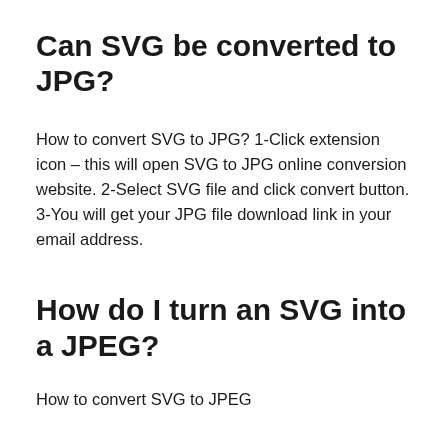Can SVG be converted to JPG?
How to convert SVG to JPG? 1-Click extension icon – this will open SVG to JPG online conversion website. 2-Select SVG file and click convert button. 3-You will get your JPG file download link in your email address.
How do I turn an SVG into a JPEG?
How to convert SVG to JPEG
Upload svg-file(s) Select files from Computer, Google Drive, Dropbox, URL